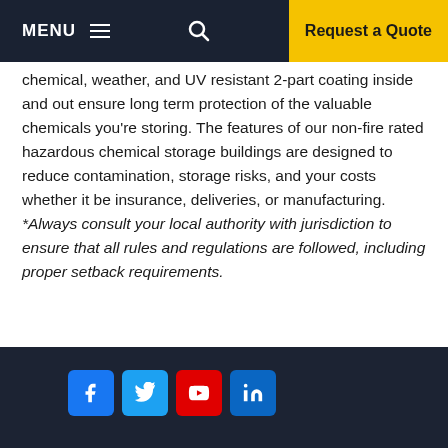MENU  [hamburger]  [search]  Request a Quote
chemical, weather, and UV resistant 2-part coating inside and out ensure long term protection of the valuable chemicals you're storing. The features of our non-fire rated hazardous chemical storage buildings are designed to reduce contamination, storage risks, and your costs whether it be insurance, deliveries, or manufacturing. *Always consult your local authority with jurisdiction to ensure that all rules and regulations are followed, including proper setback requirements.
[Facebook] [Twitter] [YouTube] [LinkedIn]